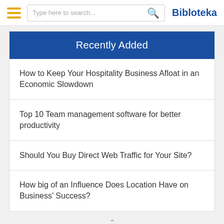Bibloteka
Recently Added
How to Keep Your Hospitality Business Afloat in an Economic Slowdown
Top 10 Team management software for better productivity
Should You Buy Direct Web Traffic for Your Site?
How big of an Influence Does Location Have on Business' Success?